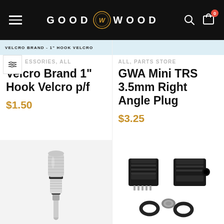GOOD WG WOOD — navigation header with hamburger menu, logo, search and cart icons
VELCRO BRAND - 1" HOOK VELCRO
ESSORIES, ALL
ALL, PARTS STORE
Velcro Brand 1" Hook Velcro p/f
GWA Mini TRS 3.5mm Right Angle Plug
$1.50
$3.25
[Figure (photo): Silver/chrome 3.5mm TRS mini right angle plug connector, metallic cylindrical body with knurled grip]
[Figure (photo): Black plastic audio connector components: two black housings and two black O-rings with a metal nut, parts for a connector assembly]